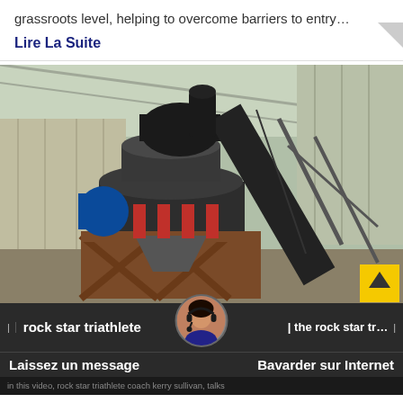grassroots level, helping to overcome barriers to entry…
Lire La Suite
[Figure (photo): Industrial cone crusher machine mounted on steel frame inside a warehouse/factory building with conveyor belt visible.]
rock star triathlete | the rock star tr…
Laissez un message   Bavarder sur Internet
in this video, rock star triathlete coach kerry sullivan, talks